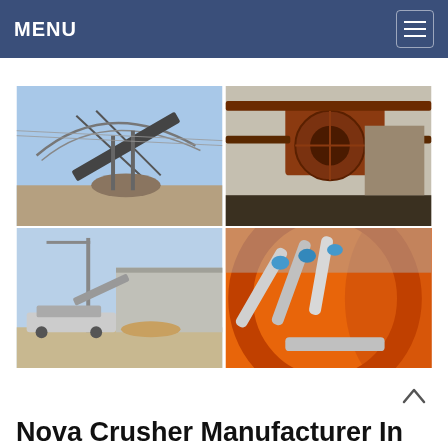MENU
[Figure (photo): Four-panel photo collage of industrial mining/crushing equipment: top-left shows a large conveyor belt and steel truss structure at an open-air facility under blue sky; top-right shows rusty heavy industrial machinery and conveyors; bottom-left shows mobile crushing/screening equipment with a crane near a building under construction; bottom-right shows interior of an orange rotating drum or mill with silver piping and blue fittings.]
Nova Crusher Manufacturer In